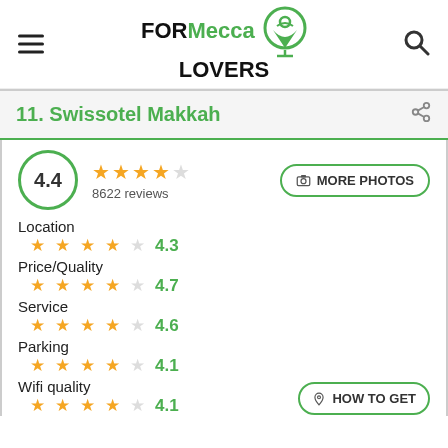[Figure (logo): FORMecca LOVERS logo with green map pin icon]
11. Swissotel Makkah
4.4 overall rating, 8622 reviews, 4.5 stars
Location 4.3
Price/Quality 4.7
Service 4.6
Parking 4.1
Wifi quality 4.1